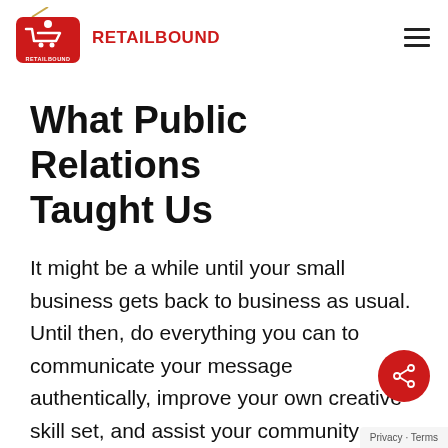[Figure (logo): Retailbound logo: red price tag with shopping cart icon and RETAILBOUND text in red]
What Public Relations Taught Us
It might be a while until your small business gets back to business as usual. Until then, do everything you can to communicate your message authentically, improve your own creative skill set, and assist your community whenever and wherever you can.
Privacy · Terms